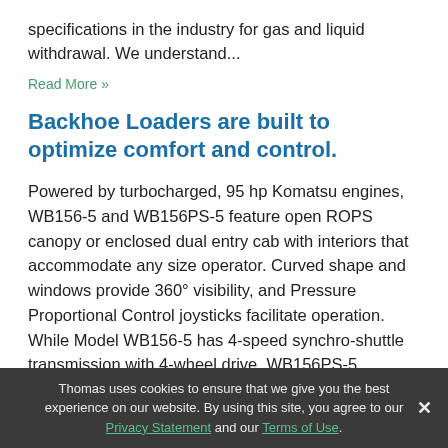specifications in the industry for gas and liquid withdrawal. We understand...
Read More »
Backhoe Loaders are built to optimize comfort and control.
Powered by turbocharged, 95 hp Komatsu engines, WB156-5 and WB156PS-5 feature open ROPS canopy or enclosed dual entry cab with interiors that accommodate any size operator. Curved shape and windows provide 360° visibility, and Pressure Proportional Control joysticks facilitate operation. While Model WB156-5 has 4-speed synchro-shuttle transmission with 4-wheel drive, WB156PS-5 employs PowerShift...
Thomas uses cookies to ensure that we give you the best experience on our website. By using this site, you agree to our Privacy Statement and our Terms of Use.